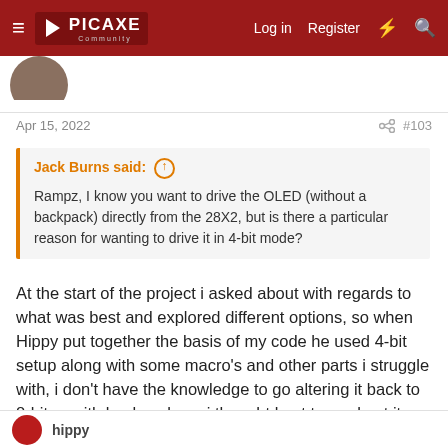PICAXE Community — Log in | Register
Apr 15, 2022  #103
Jack Burns said: ↑
Rampz, I know you want to drive the OLED (without a backpack) directly from the 28X2, but is there a particular reason for wanting to drive it in 4-bit mode?
At the start of the project i asked about with regards to what was best and explored different options, so when Hippy put together the basis of my code he used 4-bit setup along with some macro's and other parts i struggle with, i don't have the knowledge to go altering it back to 8-bit or with backpack, so i thought best try and get it working, will make for lesser component count in the end and always good to learn, but in answer to your question, no reason
hippy